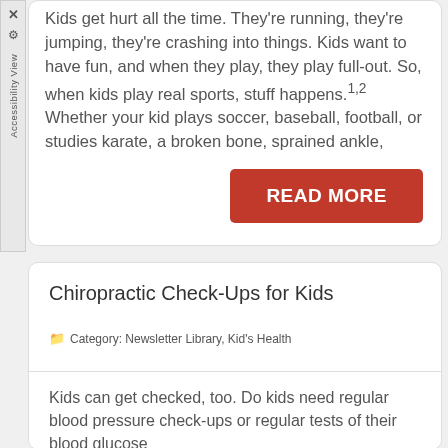Kids get hurt all the time. They're running, they're jumping, they're crashing into things. Kids want to have fun, and when they play, they play full-out. So, when kids play real sports, stuff happens.1,2 Whether your kid plays soccer, baseball, football, or studies karate, a broken bone, sprained ankle,
READ MORE
Chiropractic Check-Ups for Kids
Category: Newsletter Library, Kid's Health
Kids can get checked, too. Do kids need regular blood pressure check-ups or regular tests of their blood glucose